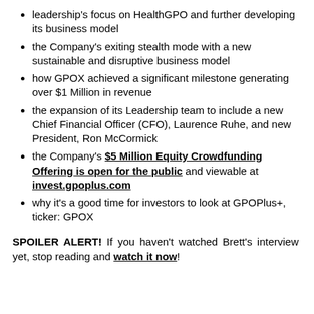leadership's focus on HealthGPO and further developing its business model
the Company's exiting stealth mode with a new sustainable and disruptive business model
how GPOX achieved a significant milestone generating over $1 Million in revenue
the expansion of its Leadership team to include a new Chief Financial Officer (CFO), Laurence Ruhe, and new President, Ron McCormick
the Company's $5 Million Equity Crowdfunding Offering is open for the public and viewable at invest.gpoplus.com
why it's a good time for investors to look at GPOPlus+, ticker: GPOX
SPOILER ALERT! If you haven't watched Brett's interview yet, stop reading and watch it now!